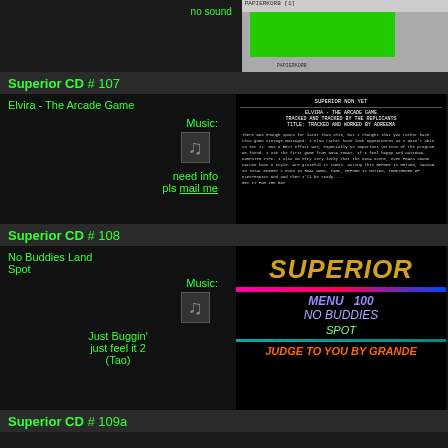no sound
[Figure (screenshot): Screenshot of a program with green box on gray background]
Superior CD # 107
Elvira - The Arcade Game
Music:
[Figure (other): Music note icon]
need info
pls mail me
[Figure (screenshot): Black screen with white text about Elvira - The Arcade Game, Superior Non Yet header]
Superior CD # 108
No Buddies Land
Spot
Music:
[Figure (other): Music note icon]
Just Buggin'
just feel it 2
(Tao)
[Figure (screenshot): Superior CD colorful title screen with No Buddies Land text]
Superior CD # 109a